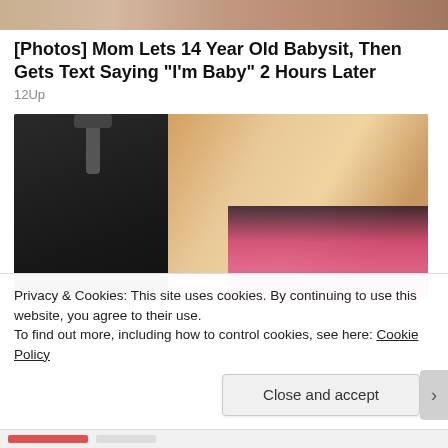[Figure (photo): Top strip showing partial image from previous content]
[Photos] Mom Lets 14 Year Old Babysit, Then Gets Text Saying "I'm Baby" 2 Hours Later
12Up
[Figure (photo): Woman with blonde hair smiling, holding a black rolling suitcase/luggage in what appears to be a studio or store setting]
Privacy & Cookies: This site uses cookies. By continuing to use this website, you agree to their use.
To find out more, including how to control cookies, see here: Cookie Policy
Close and accept